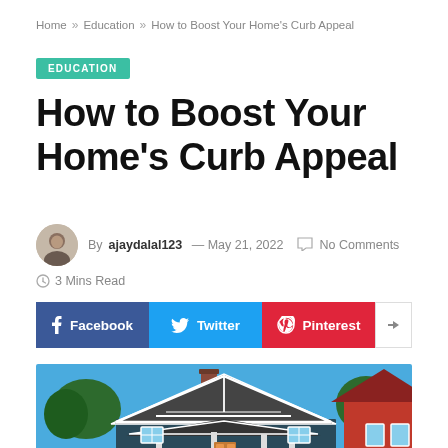Home » Education » How to Boost Your Home's Curb Appeal
EDUCATION
How to Boost Your Home's Curb Appeal
By ajaydalal123 — May 21, 2022   No Comments   3 Mins Read
[Figure (infographic): Social share buttons: Facebook (blue), Twitter (light blue), Pinterest (red), and a share icon button (white)]
[Figure (photo): Photo of a craftsman-style house with dark blue/grey exterior, white trim, peaked roof, chimney, and trees under a clear blue sky. A red house is partially visible on the right side.]